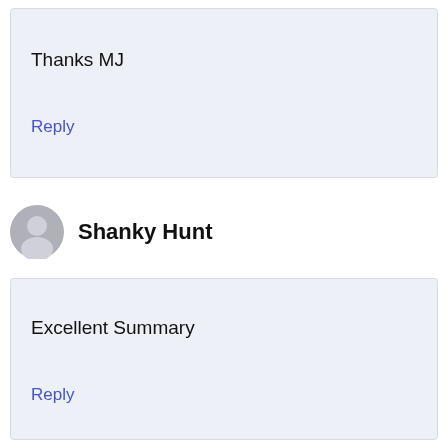Thanks MJ
Reply
Shanky Hunt
Excellent Summary
Reply